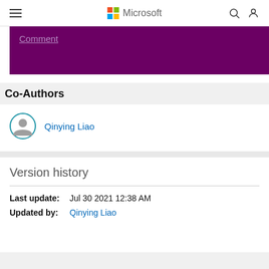Microsoft
Comment
Co-Authors
Qinying Liao
Version history
Last update: Jul 30 2021 12:38 AM
Updated by: Qinying Liao